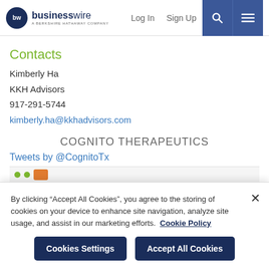[Figure (logo): Business Wire logo — dark navy circle with 'bw' initials, followed by 'businesswire' text and subtitle 'A BERKSHIRE HATHAWAY COMPANY']
Log In   Sign Up
Contacts
Kimberly Ha
KKH Advisors
917-291-5744
kimberly.ha@kkhadvisors.com
COGNITO THERAPEUTICS
Tweets by @CognitoTx
By clicking “Accept All Cookies”, you agree to the storing of cookies on your device to enhance site navigation, analyze site usage, and assist in our marketing efforts.  Cookie Policy
Cookies Settings   Accept All Cookies